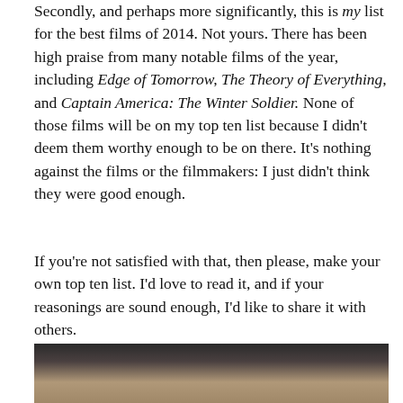Secondly, and perhaps more significantly, this is my list for the best films of 2014. Not yours. There has been high praise from many notable films of the year, including Edge of Tomorrow, The Theory of Everything, and Captain America: The Winter Soldier. None of those films will be on my top ten list because I didn't deem them worthy enough to be on there. It's nothing against the films or the filmmakers: I just didn't think they were good enough.
If you're not satisfied with that, then please, make your own top ten list. I'd love to read it, and if your reasonings are sound enough, I'd like to share it with others.
Now then, let's hop to it, shall we? Here are my top ten films of 2014:
[Figure (photo): Partial photo visible at the bottom of the page, showing what appears to be a person, cropped.]